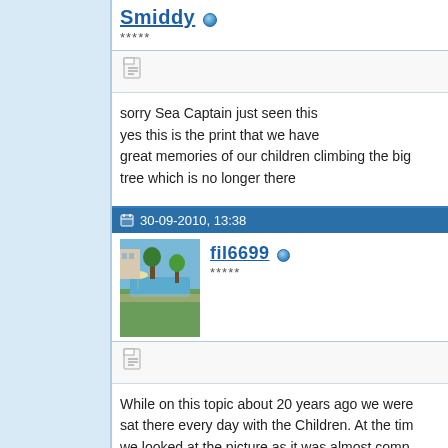Smiddy (online) *****
sorry Sea Captain just seen this
yes this is the print that we have
great memories of our children climbing the big
tree which is no longer there
30-09-2010, 13:38
fil6699 (online) *****
[Figure (photo): Avatar photo showing a poolside or garden area with trees, umbrellas, and a building in the background.]
While on this topic about 20 years ago we were sat there every day with the Children. At the time we looked at the picture as it was almost comp who was just 2 years old at the time and spent edge dragging his fishing net behind him and w covered from the sun and his white hat. We so opportunity to purchase it.